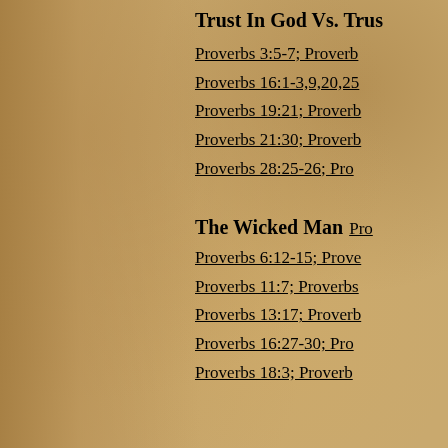Trust In God Vs. Trus...
Proverbs 3:5-7; Proverb...
Proverbs 16:1-3,9,20,25...
Proverbs 19:21; Proverb...
Proverbs 21:30; Proverb...
Proverbs 28:25-26; Pro...
The Wicked Man
Proverbs 6:12-15; Prove...
Proverbs 11:7; Proverbs...
Proverbs 13:17; Proverb...
Proverbs 16:27-30; Pro...
Proverbs 18:3; Proverb...